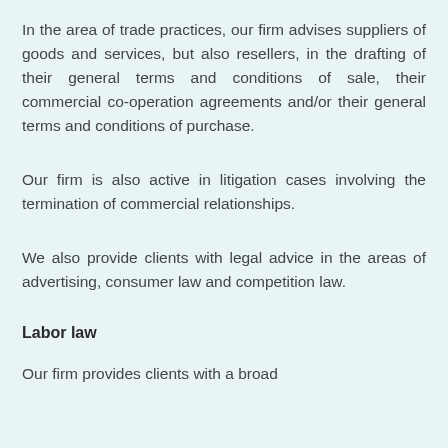In the area of trade practices, our firm advises suppliers of goods and services, but also resellers, in the drafting of their general terms and conditions of sale, their commercial co-operation agreements and/or their general terms and conditions of purchase.
Our firm is also active in litigation cases involving the termination of commercial relationships.
We also provide clients with legal advice in the areas of advertising, consumer law and competition law.
Labor law
Our firm provides clients with a broad...